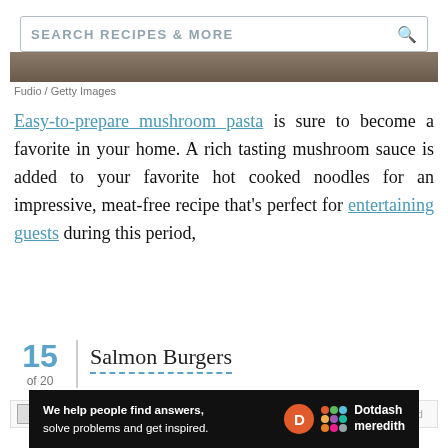SEARCH RECIPES & MORE
Fudio / Getty Images
Easy-to-prepare mushroom pasta is sure to become a favorite in your home. A rich tasting mushroom sauce is added to your favorite hot cooked noodles for an impressive, meat-free recipe that's perfect for entertaining guests during this period,
15 of 20  Salmon Burgers
[Figure (photo): Salmon burger image placeholder]
[Figure (other): Dotdash Meredith advertisement banner: We help people find answers, solve problems and get inspired.]